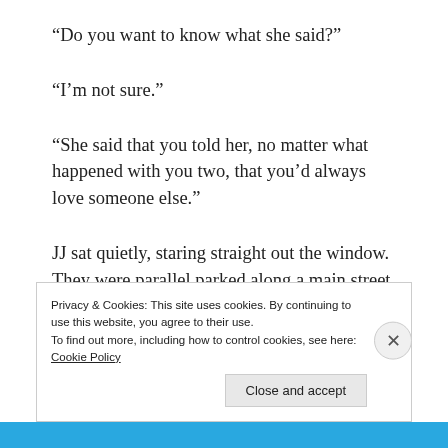“Do you want to know what she said?”
“I’m not sure.”
“She said that you told her, no matter what happened with you two, that you’d always love someone else.”
JJ sat quietly, staring straight out the window. They were parallel parked along a main street and cars whooshed by. The minivan in front of them had stickers denoting the members of the family, five Star Wars figures all in a row, two big and three little, holding
Privacy & Cookies: This site uses cookies. By continuing to use this website, you agree to their use.
To find out more, including how to control cookies, see here: Cookie Policy
Close and accept